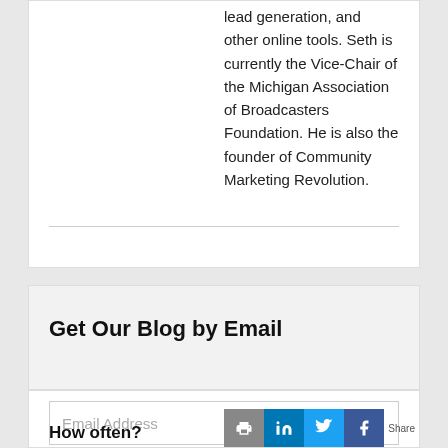lead generation, and other online tools. Seth is currently the Vice-Chair of the Michigan Association of Broadcasters Foundation. He is also the founder of Community Marketing Revolution.
Get Our Blog by Email
Email Address
How often?
Share